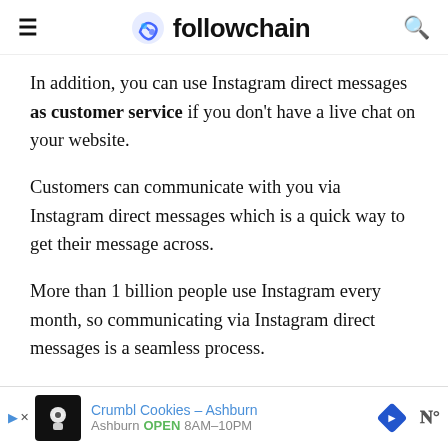followchain
In addition, you can use Instagram direct messages as customer service if you don't have a live chat on your website.
Customers can communicate with you via Instagram direct messages which is a quick way to get their message across.
More than 1 billion people use Instagram every month, so communicating via Instagram direct messages is a seamless process.
[Figure (other): Advertisement banner: Crumbl Cookies - Ashburn, OPEN 8AM-10PM]